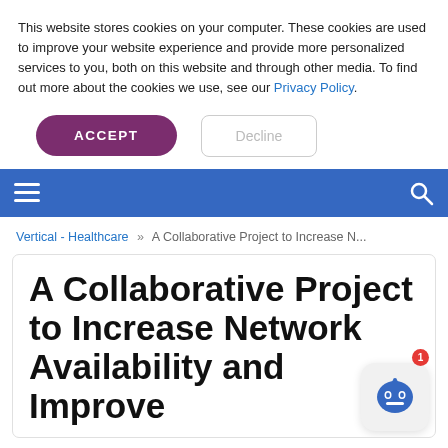This website stores cookies on your computer. These cookies are used to improve your website experience and provide more personalized services to you, both on this website and through other media. To find out more about the cookies we use, see our Privacy Policy.
ACCEPT | Decline
[Figure (screenshot): Navigation bar with hamburger menu icon on left and search icon on right, blue background]
Vertical - Healthcare » A Collaborative Project to Increase N...
A Collaborative Project to Increase Network Availability and Improve